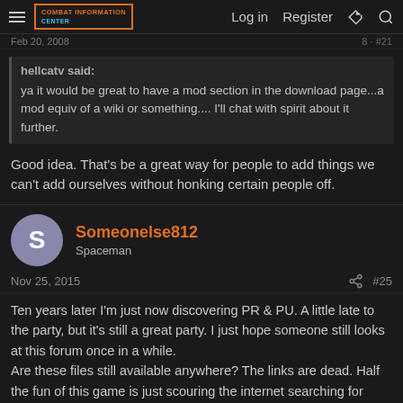Combat Information Center | Log in | Register
Feb 20, 2008
hellcatv said:
ya it would be great to have a mod section in the download page...a mod equiv of a wiki or something.... I'll chat with spirit about it further.
Good idea. That's be a great way for people to add things we can't add ourselves without honking certain people off.
Someonelse812
Spaceman
Nov 25, 2015
#25
Ten years later I'm just now discovering PR & PU. A little late to the party, but it's still a great party. I just hope someone still looks at this forum once in a while.
Are these files still available anywhere? The links are dead. Half the fun of this game is just scouring the internet searching for mods. Also, what Google search terms should the files be under?